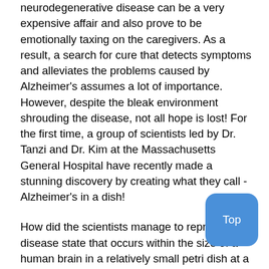neurodegenerative disease can be a very expensive affair and also prove to be emotionally taxing on the caregivers. As a result, a search for cure that detects symptoms and alleviates the problems caused by Alzheimer's assumes a lot of importance. However, despite the bleak environment shrouding the disease, not all hope is lost! For the first time, a group of scientists led by Dr. Tanzi and Dr. Kim at the Massachusetts General Hospital have recently made a stunning discovery by creating what they call - Alzheimer's in a dish!
How did the scientists manage to reproduce the disease state that occurs within the size of a human brain in a relatively small petri dish at a lab? The scientists took a petri dish with human embryonic stem cells and supplied them with chemicals that turned them into brain nerve cells. Although nerve cells have been grown in a petri dish before, the novelty was, these neurons not only grew horizontally but also grew vertically stacked on top of each other, thus forming a 3-dimensional system mimicking the brain. The neurons were provided with Alzheimer's genes thus creating the first ever- Alzheimer's pathology in a petri dish. Within weeks, the scientists noted clumps of a certain kind of protein known as beta amyloid responsible for plaque formation and twisted structures known